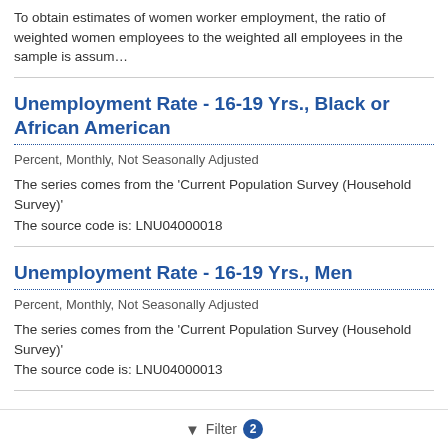To obtain estimates of women worker employment, the ratio of weighted women employees to the weighted all employees in the sample is assum…
Unemployment Rate - 16-19 Yrs., Black or African American
Percent, Monthly, Not Seasonally Adjusted
The series comes from the 'Current Population Survey (Household Survey)' The source code is: LNU04000018
Unemployment Rate - 16-19 Yrs., Men
Percent, Monthly, Not Seasonally Adjusted
The series comes from the 'Current Population Survey (Household Survey)' The source code is: LNU04000013
Unemployment Rate - 16-19 Yrs., Hispanic or Latino
Percent, Monthly, Not Seasonally Adjusted
Filter 2